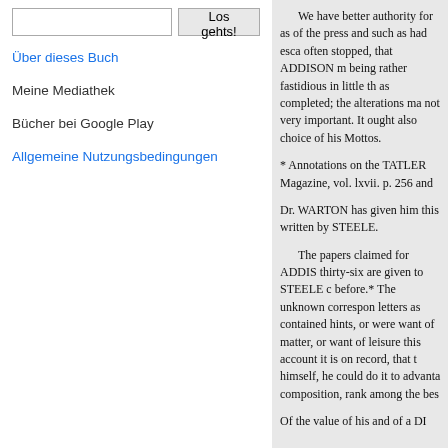Search input and Los gehts! button
Über dieses Buch
Meine Mediathek
Bücher bei Google Play
Allgemeine Nutzungsbedingungen
We have better authority for as of the press and such as had esca often stopped, that ADDISON m being rather fastidious in little th as completed; the alterations ma not very important. It ought also choice of his Mottos.
* Annotations on the TATLER Magazine, vol. lxvii. p. 256 and
Dr. WARTON has given him this written by STEELE.
The papers claimed for ADDIS thirty-six are given to STEELE c before.* The unknown correspon letters as contained hints, or were want of matter, or want of leisure this account it is on record, that t himself, he could do it to advanta composition, rank among the bes
Of the value of his and of a DI